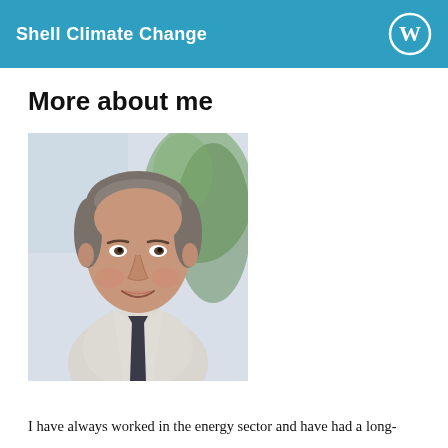Shell Climate Change
More about me
[Figure (photo): Portrait photo of a middle-aged man in a light shirt and dark tie, smiling, with blurred greenery in the background.]
I have always worked in the energy sector and have had a long-